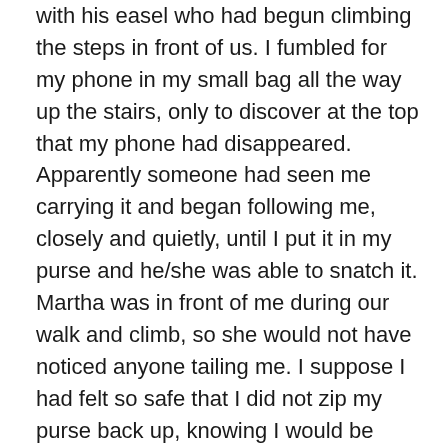with his easel who had begun climbing the steps in front of us. I fumbled for my phone in my small bag all the way up the stairs, only to discover at the top that my phone had disappeared. Apparently someone had seen me carrying it and began following me, closely and quietly, until I put it in my purse and he/she was able to snatch it. Martha was in front of me during our walk and climb, so she would not have noticed anyone tailing me. I suppose I had felt so safe that I did not zip my purse back up, knowing I would be pulling the phone back out momentarily. I cannot describe how confused and disbelieving I was when I realized my phone was missing. It was the oddest feeling, and not a good one. The lesson, my friends, is never to let down your guard when on the streets of Paris, even when you do not feel the least vulnerable.

I was able to shake it off and not allow my day to be